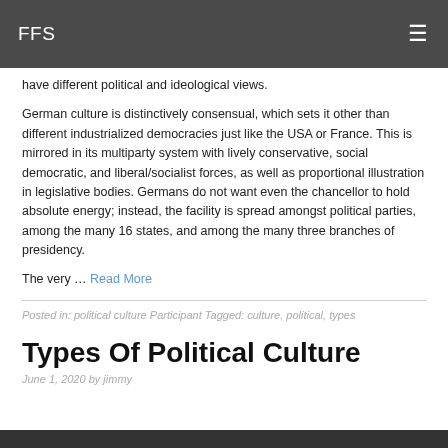FFS
have different political and ideological views.
German culture is distinctively consensual, which sets it other than different industrialized democracies just like the USA or France. This is mirrored in its multiparty system with lively conservative, social democratic, and liberal/socialist forces, as well as proportional illustration in legislative bodies. Germans do not want even the chancellor to hold absolute energy; instead, the facility is spread amongst political parties, among the many 16 states, and among the many three branches of presidency.
The very … Read More
Posted in: political culture Participant Tagged: culture, political, types
Types Of Political Culture
June 1, 2020 by jimmy